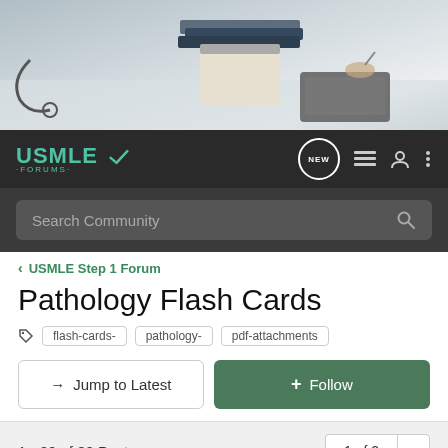[Figure (photo): Hero banner showing a desk with books, clipboard, and a tablet device with a person's hand writing]
[Figure (screenshot): USMLE Forums navigation bar with logo, NEW badge, list icon, user icon, and menu icon, plus search bar saying 'Search Community']
USMLE Step 1 Forum
Pathology Flash Cards
flash-cards-   pathology-   pdf-attachments
→ Jump to Latest
+ Follow
1 - 20 of 30 Posts
1 of 2 ▶